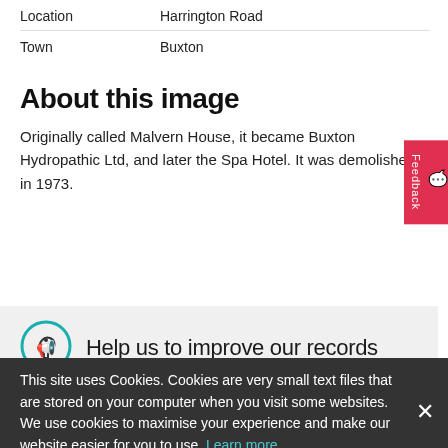| Location | Harrington Road |
| Town | Buxton |
About this image
Originally called Malvern House, it became Buxton Hydropathic Ltd, and later the Spa Hotel. It was demolished in 1973.
Help us to improve our records
If you can improve our knowledge about this image we'd be happy to hear from you. Please contact us here
This site uses Cookies. Cookies are very small text files that are stored on your computer when you visit some websites. We use cookies to maximise your experience and make our website easier for you to use. Learn more...
A set of four cork-backed coasters printed with photo of